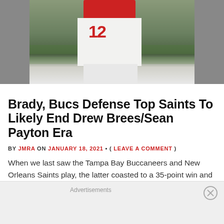[Figure (photo): Football player wearing jersey number 12 in red and white uniform, standing on a field with green grass background]
Brady, Bucs Defense Top Saints To Likely End Drew Brees/Sean Payton Era
BY JMRA ON JANUARY 18, 2021 • ( LEAVE A COMMENT )
When we last saw the Tampa Bay Buccaneers and New Orleans Saints play, the latter coasted to a 35-point win and staged a controversial postgame dance party. The music and dancing stopped abruptly on Sunday as the Buccaneers are headed to the NFC Championship Game after defeating the
Advertisements